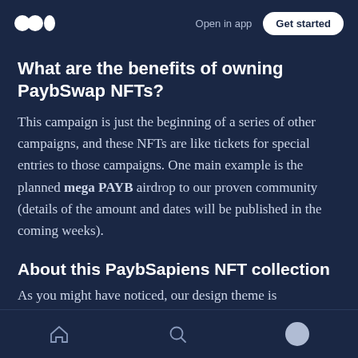Open in app | Get started
What are the benefits of owning PaybSwap NFTs?
This campaign is just the beginning of a series of other campaigns, and these NFTs are like tickets for special entries to those campaigns. One main example is the planned mega PAYB airdrop to our proven community (details of the amount and dates will be published in the coming weeks).
About this PaybSapiens NFT collection
As you might have noticed, our design theme is
Home | Search | Profile